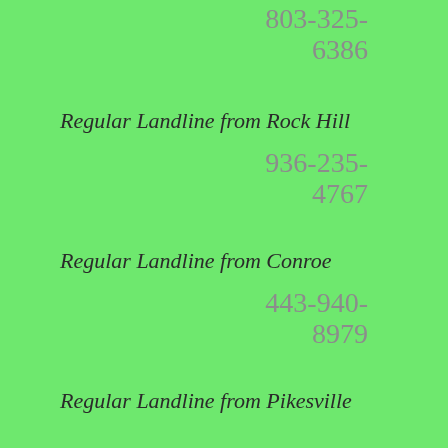803-325-6386
Regular Landline from Rock Hill
936-235-4767
Regular Landline from Conroe
443-940-8979
Regular Landline from Pikesville
520-791-6569
Regular Landline from Tucson
469-626-6995